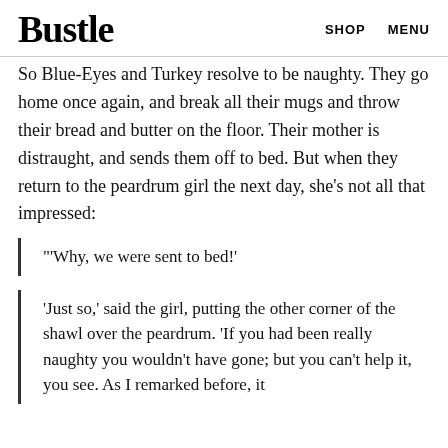Bustle   SHOP   MENU
So Blue-Eyes and Turkey resolve to be naughty. They go home once again, and break all their mugs and throw their bread and butter on the floor. Their mother is distraught, and sends them off to bed. But when they return to the peardrum girl the next day, she's not all that impressed:
"'Why, we were sent to bed!'
'Just so,' said the girl, putting the other corner of the shawl over the peardrum. 'If you had been really naughty you wouldn't have gone; but you can't help it, you see. As I remarked before, it